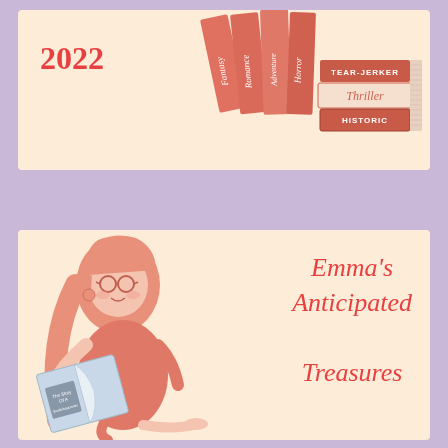2022
[Figure (illustration): Stack of books with genre labels: Fantasy, Romance, Adventure, Horror, Tear-Jerker, Thriller, Historic]
Emma's Anticipated Treasures
[Figure (illustration): A girl with glasses reading a book titled 'The Story Of A Bookshopowner']